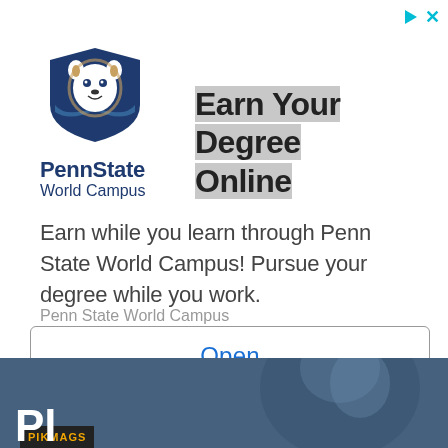[Figure (logo): Penn State World Campus shield logo with lion mascot in navy blue, with 'PennState World Campus' text below]
Earn Your Degree Online
Earn while you learn through Penn State World Campus! Pursue your degree while you work.
Penn State World Campus
Open
[Figure (photo): Dark blue-toned photo of a person studying or reading, partial face visible, with PIKMAGS logo overlay and partial 'Pl' text at bottom left]